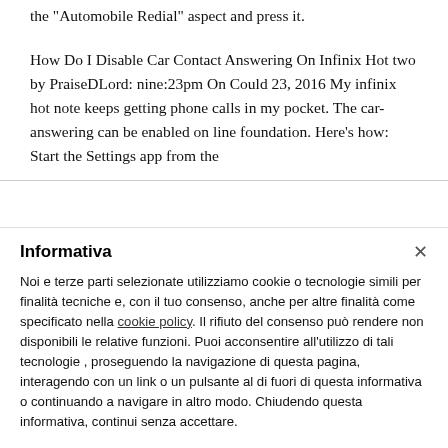the “Automobile Redial” aspect and press it.
How Do I Disable Car Contact Answering On Infinix Hot two by PraiseDLord: nine:23pm On Could 23, 2016 My infinix hot note keeps getting phone calls in my pocket. The car-answering can be enabled on line foundation. Here’s how: Start the Settings app from the
Informativa
Noi e terze parti selezionate utilizziamo cookie o tecnologie simili per finalità tecniche e, con il tuo consenso, anche per altre finalità come specificato nella cookie policy. Il rifiuto del consenso può rendere non disponibili le relative funzioni. Puoi acconsentire all’utilizzo di tali tecnologie , proseguendo la navigazione di questa pagina, interagendo con un link o un pulsante al di fuori di questa informativa o continuando a navigare in altro modo. Chiudendo questa informativa, continui senza accettare.